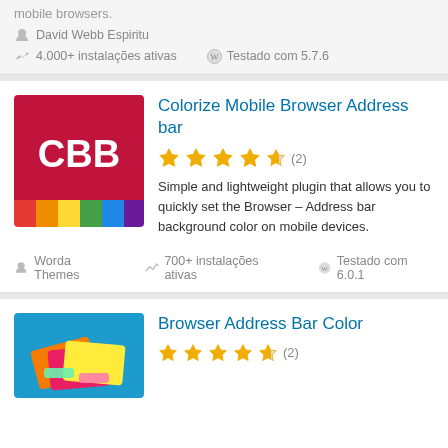mobile browsers.
David Webb Espiritu
4.000+ instalações ativas
Testado com 5.7.6
Colorize Mobile Browser Address bar
4.5 stars (2)
Simple and lightweight plugin that allows you to quickly set the Browser – Address bar background color on mobile devices.
Worda Themes
700+ instalações ativas
Testado com 6.0.1
Browser Address Bar Color
4.5 stars (2)